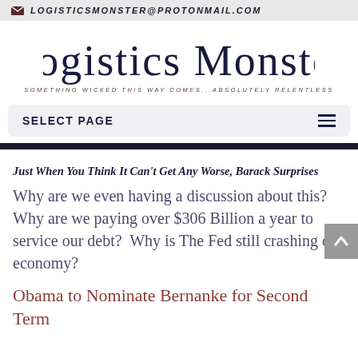LOGISTICSMONSTER@PROTONMAIL.COM
[Figure (logo): Logistics Monster logo with cursive/gothic font and tagline: SOMETHING WICKED THIS WAY COMES...ABSOLUTELY RELENTLESS]
SELECT PAGE
Just When You Think It Can't Get Any Worse, Barack Surprises
Why are we even having a discussion about this?  Why are we paying over $306 Billion a year to service our debt?  Why is The Fed still crashing our economy?
Obama to Nominate Bernanke for Second Term